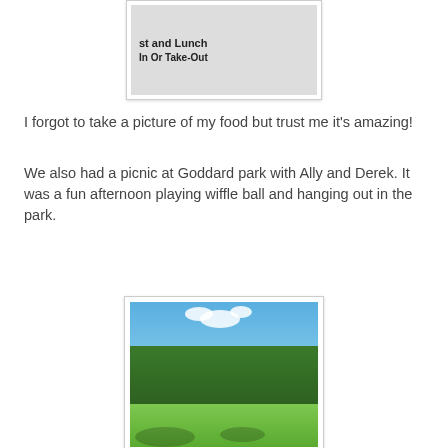[Figure (photo): Partial view of a newspaper or menu showing text 'st and Lunch' and 'In Or Take-Out' with additional newspaper columns visible on the right]
I forgot to take a picture of my food but trust me it's amazing!
We also had a picnic at Goddard park with Ally and Derek. It was a fun afternoon playing wiffle ball and hanging out in the park.
[Figure (photo): Outdoor park scene showing a green grassy field with large trees in the background under a blue sky with white clouds, Goddard park]